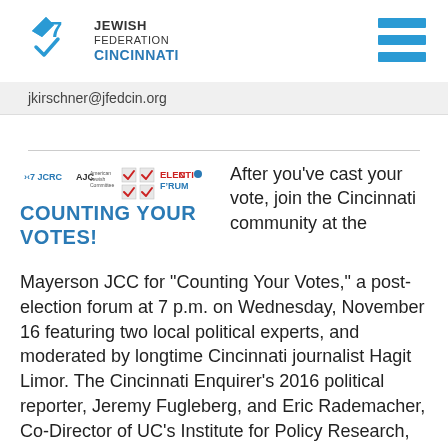Jewish Federation Cincinnati
jkirschner@jfedcin.org
[Figure (logo): JCRC, AJC, Election Forum logos with checkboxes and text COUNTING YOUR VOTES!]
After you’ve cast your vote, join the Cincinnati community at the Mayerson JCC for “Counting Your Votes,” a post-election forum at 7 p.m. on Wednesday, November 16 featuring two local political experts, and moderated by longtime Cincinnati journalist Hagit Limor. The Cincinnati Enquirer’s 2016 political reporter, Jeremy Fugleberg, and Eric Rademacher, Co-Director of UC’s Institute for Policy Research, will analyze election results. They’ll explore what voting trends say about our